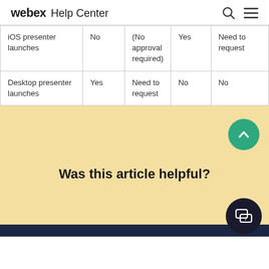webex Help Center
| iOS presenter launches | No | (No approval required) | Yes | Need to request |
| Desktop presenter launches | Yes | Need to request | No | No |
Was this article helpful?